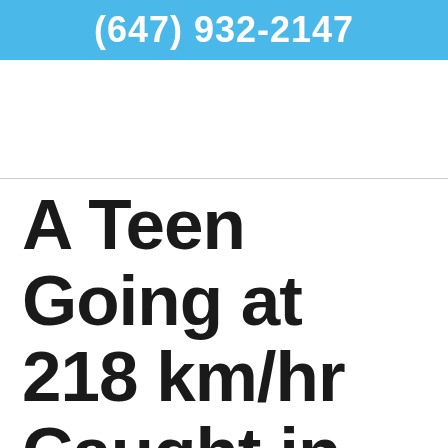(647) 932-2147
A Teen Going at 218 km/hr Caught in Oakville